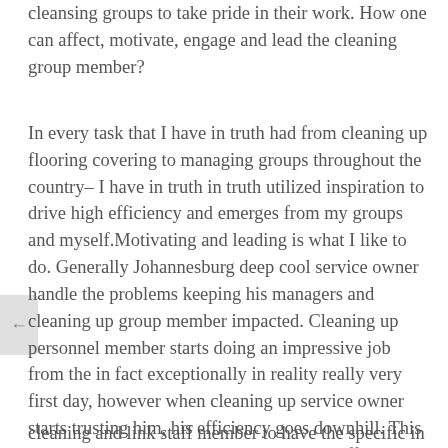cleansing groups to take pride in their work. How one can affect, motivate, engage and lead the cleaning group member?
In every task that I have in truth had from cleaning up flooring covering to managing groups throughout the country– I have in truth in truth utilized inspiration to drive high efficiency and emerges from my groups and myself.Motivating and leading is what I like to do. Generally Johannesburg deep cool service owner handle the problems keeping his managers and cleaning up group member impacted. Cleaning up personnel member starts doing an impressive job from the in fact exceptionally in reality really very first day, however when cleaning up service owner starts trusting him, his efficiency goes downhill. This makes service owner to think how can he affect, recommend, lead the
cleaning and link staff member to have the specific in